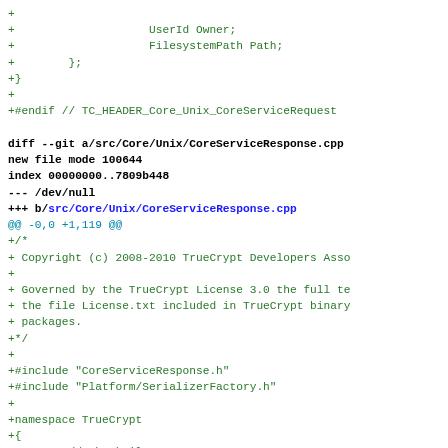[Figure (screenshot): A code diff view showing additions to CoreServiceRequest and CoreServiceResponse.cpp files. Green lines show added code with + prefix. Blue bold lines show diff headers. Black bold lines show git diff metadata.]